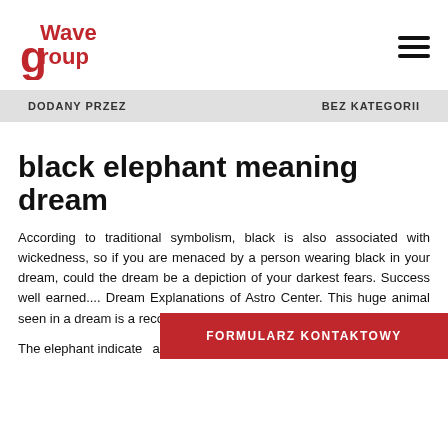Wave group (logo)
DODANY PRZEZ    BEZ KATEGORII
black elephant meaning dream
According to traditional symbolism, black is also associated with wickedness, so if you are menaced by a person wearing black in your dream, could the dream be a depiction of your darkest fears. Success well earned.... Dream Explanations of Astro Center. This huge animal seen in a dream is a recognized symbol of wealth.
The elephant indicate almost guaranteed w
FORMULARZ KONTAKTOWY